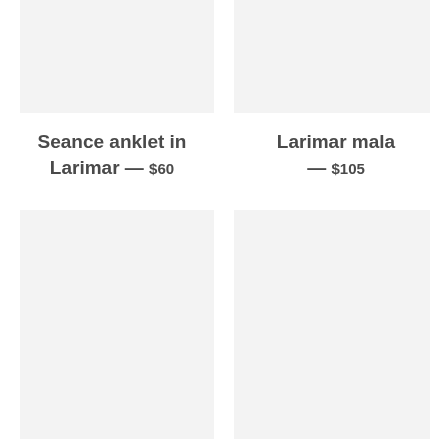[Figure (photo): Product image placeholder for Seance anklet in Larimar (top left, light gray background)]
[Figure (photo): Product image placeholder for Larimar mala (top right, light gray background)]
Seance anklet in Larimar — $60
Larimar mala — $105
[Figure (photo): Product image placeholder for Larimar lotus (bottom left, light gray background)]
[Figure (photo): Product image placeholder for unknown item (bottom right, light gray background)]
Larimar lotus